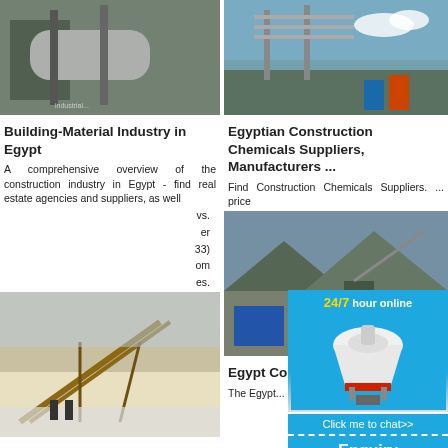[Figure (photo): Industrial building material machinery in a factory setting]
Building-Material Industry in Egypt
A comprehensive overview of the construction industry in Egypt - find real estate agencies and suppliers, as well ... vs. ... er ... 33) ... om ... es.
[Figure (photo): Mining conveyor equipment in snowy outdoor setting]
Egypt Construction Mining Equipment Parts Suppliers: Al ...
Egypt has many heavy machinery parts dealers, suppliers and wholesalers. If
[Figure (photo): Egyptian construction chemicals industrial facility]
Egyptian Construction Chemicals Suppliers, Manufacturers ...
Find Construction Chemicals Suppliers. ... price
[Figure (photo): Construction chemicals industrial site]
Egypt Co... Market 2... Share ...
The Egypt... is estimate... of approxi...
[Figure (infographic): 24/7 hour online ad with cone crusher machine, Click me to chat>> button, Enquiry section, and limingjlmofen username]